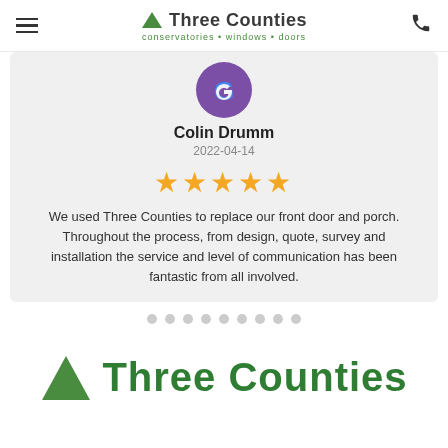Three Counties conservatories • windows • doors
[Figure (logo): Google review G logo icon (purple background with Google G)]
Colin Drumm
2022-04-14
[Figure (other): 5 gold star rating]
We used Three Counties to replace our front door and porch. Throughout the process, from design, quote, survey and installation the service and level of communication has been fantastic from all involved.
[Figure (other): Carousel navigation dots (9 dots, all grey)]
[Figure (logo): Three Counties logo — green triangle and Three Counties text in large green font]